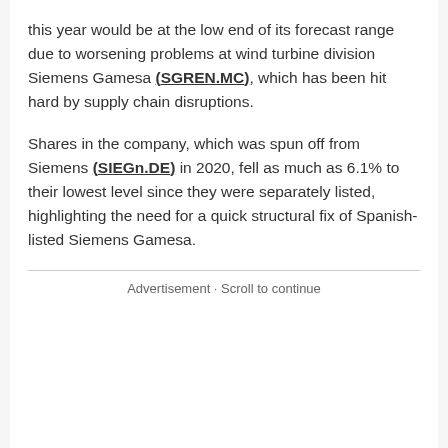this year would be at the low end of its forecast range due to worsening problems at wind turbine division Siemens Gamesa (SGREN.MC), which has been hit hard by supply chain disruptions.
Shares in the company, which was spun off from Siemens (SIEGn.DE) in 2020, fell as much as 6.1% to their lowest level since they were separately listed, highlighting the need for a quick structural fix of Spanish-listed Siemens Gamesa.
Advertisement · Scroll to continue